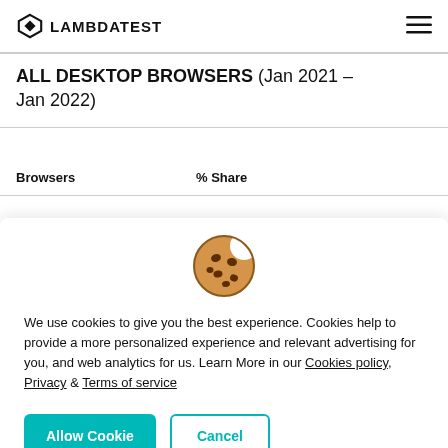LAMBDATEST
ALL DESKTOP BROWSERS (Jan 2021 - Jan 2022)
| Browsers | % Share |
| --- | --- |
[Figure (illustration): Cookie emoji icon — round brown cookie with chocolate chips and a bite taken out]
We use cookies to give you the best experience. Cookies help to provide a more personalized experience and relevant advertising for you, and web analytics for us. Learn More in our Cookies policy, Privacy & Terms of service
Allow Cookie | Cancel